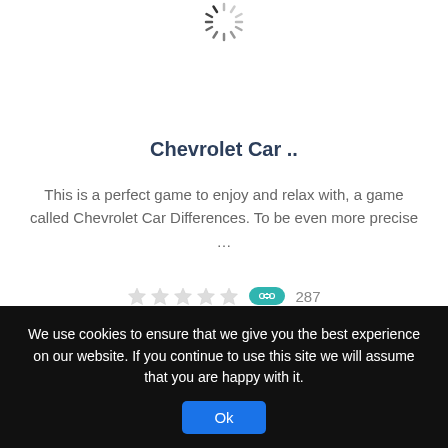[Figure (other): Loading spinner icon at top of page]
Chevrolet Car ..
This is a perfect game to enjoy and relax with, a game called Chevrolet Car Differences. To be even more precise …
[Figure (other): Five star rating (empty/grey stars) and a teal game controller badge with play count 287]
[Figure (other): Loading spinner icon in center of page]
We use cookies to ensure that we give you the best experience on our website. If you continue to use this site we will assume that you are happy with it.
Ok